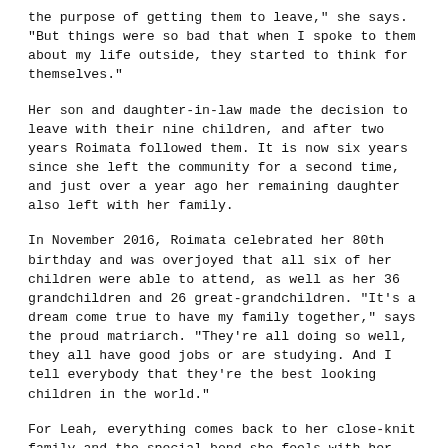the purpose of getting them to leave," she says. "But things were so bad that when I spoke to them about my life outside, they started to think for themselves."
Her son and daughter-in-law made the decision to leave with their nine children, and after two years Roimata followed them. It is now six years since she left the community for a second time, and just over a year ago her remaining daughter also left with her family.
In November 2016, Roimata celebrated her 80th birthday and was overjoyed that all six of her children were able to attend, as well as her 36 grandchildren and 26 great-grandchildren. "It's a dream come true to have my family together," says the proud matriarch. "They're all doing so well, they all have good jobs or are studying. And I tell everybody that they're the best looking children in the world."
For Leah, everything comes back to her close-knit family and the special bond she feels with her mother. Even today, the mother and daughter live just 10 minutes apart and are as inseparable as ever. "At the end of the day it was that whānau support that got me through," says Leah. "It was having a matriarch like Mum at the centre of our whānau, with that wairua she as wrapped around us